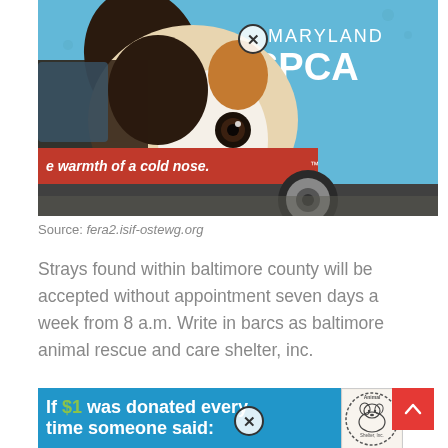[Figure (photo): A blue Maryland SPCA van with a large photo of a puppy (Jack Russell Terrier) on the side. Red banner text reads 'e warmth of a cold nose.' with Maryland SPCA logo in white text on upper right of van.]
Source: fera2.isif-ostewg.org
Strays found within baltimore county will be accepted without appointment seven days a week from 8 a.m. Write in barcs as baltimore animal rescue and care shelter, inc.
[Figure (infographic): Blue banner graphic with bold white and green text reading 'If $1 was donated every time someone said!' with an Animal Shelter Inc. logo/stamp on the right side.]